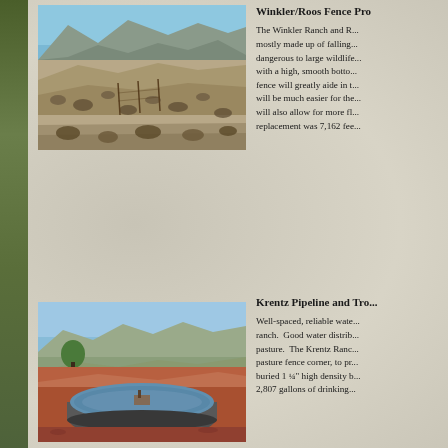[Figure (photo): Desert hillside landscape with dry scrub brush and mountains in background, fencing visible in mid-ground]
Winkler/Roos Fence Pro...
The Winkler Ranch and R... mostly made up of falling... dangerous to large wildlife... with a high, smooth botto... fence will greatly aide in t... will be much easier for th... will also allow for more fl... replacement was 7,162 fee...
[Figure (photo): Round metal livestock water trough filled with water, set in dry reddish desert pasture with mountains and trees in background]
Krentz Pipeline and Tro...
Well-spaced, reliable wate... ranch. Good water distrib... pasture. The Krentz Ranc... pasture fence corner, to pr... buried 1 ¼” high density b... 2,807 gallons of drinking...